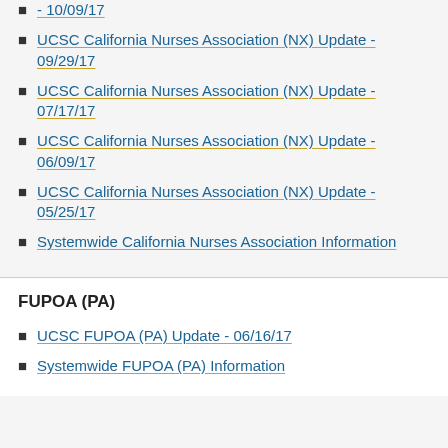- 10/09/17
UCSC California Nurses Association (NX) Update - 09/29/17
UCSC California Nurses Association (NX) Update - 07/17/17
UCSC California Nurses Association (NX) Update - 06/09/17
UCSC California Nurses Association (NX) Update - 05/25/17
Systemwide California Nurses Association Information
FUPOA (PA)
UCSC FUPOA (PA) Update - 06/16/17
Systemwide FUPOA (PA) Information